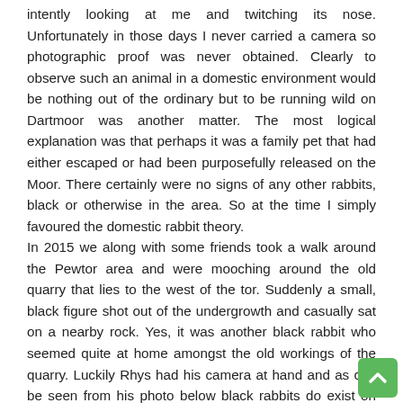intently looking at me and twitching its nose. Unfortunately in those days I never carried a camera so photographic proof was never obtained. Clearly to observe such an animal in a domestic environment would be nothing out of the ordinary but to be running wild on Dartmoor was another matter. The most logical explanation was that perhaps it was a family pet that had either escaped or had been purposefully released on the Moor. There certainly were no signs of any other rabbits, black or otherwise in the area. So at the time I simply favoured the domestic rabbit theory.
In 2015 we along with some friends took a walk around the Pewtor area and were mooching around the old quarry that lies to the west of the tor. Suddenly a small, black figure shot out of the undergrowth and casually sat on a nearby rock. Yes, it was another black rabbit who seemed quite at home amongst the old workings of the quarry. Luckily Rhys had his camera at hand and as can be seen from his photo below black rabbits do exist on Dartmoor. The distance (as the crow flies) between the quarry and Bench Tor where I saw my first black rabbit is some ten miles. Therefore it seems improbable if not impossible that there is any connection between the two rabbits bearing in mind how far